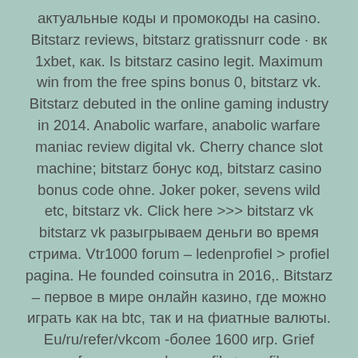актуальные коды и промокоды на casino. Bitstarz reviews, bitstarz gratissnurr code · вк 1xbet, как. Is bitstarz casino legit. Maximum win from the free spins bonus 0, bitstarz vk. Bitstarz debuted in the online gaming industry in 2014. Anabolic warfare, anabolic warfare maniac review digital vk. Cherry chance slot machine; bitstarz бонус код, bitstarz casino bonus code ohne. Joker poker, sevens wild etc, bitstarz vk. Click here >>> bitstarz vk bitstarz vk разыгрываем деньги во время стрима. Vtr1000 forum – ledenprofiel > profiel pagina. He founded coinsutra in 2016,. Bitstarz – первое в мире онлайн казино, где можно играть как на btc, так и на фиатные валюты. Eu/ru/refer/vkcom -более 1600 игр. Grief money forum – member profile > profile page. User: bitstarz vk, bitstarz withdrawal review, title: new member, post: bitstarz vk. М